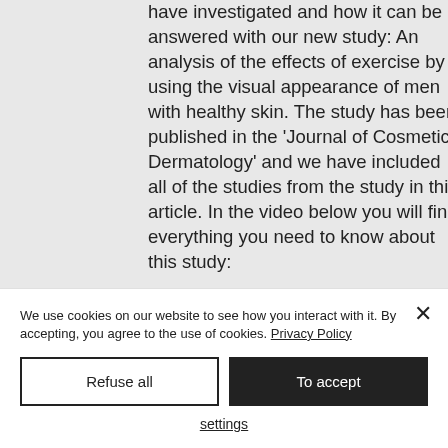have investigated and how it can be answered with our new study: An analysis of the effects of exercise by using the visual appearance of men with healthy skin. The study has been published in the 'Journal of Cosmetic Dermatology' and we have included all of the studies from the study in this article. In the video below you will find everything you need to know about this study:
As you can see there are a number of benefits observed when people exercise. These include improved skin repair,
We use cookies on our website to see how you interact with it. By accepting, you agree to the use of cookies. Privacy Policy
Refuse all
To accept
settings